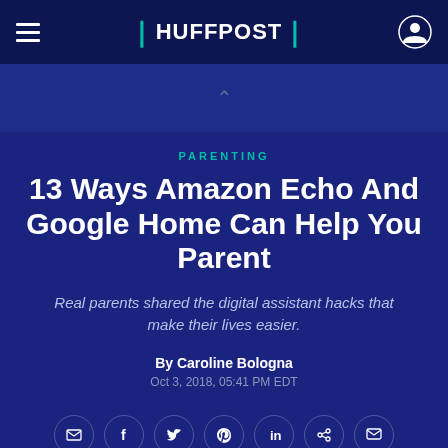HUFFPOST
PARENTING
13 Ways Amazon Echo And Google Home Can Help You Parent
Real parents shared the digital assistant hacks that make their lives easier.
By Caroline Bologna
Oct 3, 2018, 05:41 PM EDT